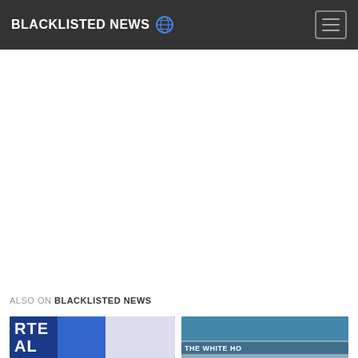BLACKLISTED NEWS 🌐
ALSO ON BLACKLISTED NEWS
[Figure (photo): Thumbnail image showing RTE logo or related imagery with blue/checkered background and figures]
[Figure (photo): Thumbnail image showing The White House press briefing area with a person visible]